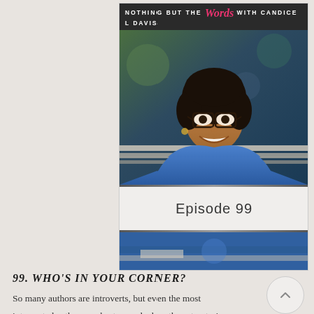[Figure (photo): Podcast cover art for 'Nothing But The Words with Candice L Davis' showing Episode 99, featuring a smiling woman with glasses and natural hair wearing a blue top, leaning on a surface. Header reads 'NOTHING BUT THE Words WITH CANDICE L DAVIS'. Bottom shows 'Episode 99' text band.]
99. WHO'S IN YOUR CORNER?
So many authors are introverts, but even the most introverted authors are best served when they stop trying to do it all on their own…